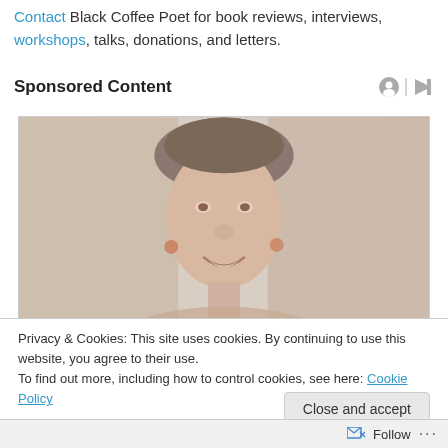Contact Black Coffee Poet for book reviews, interviews, workshops, talks, donations, and letters.
Sponsored Content
[Figure (photo): A faded/washed-out photo of a smiling woman with dark hair pulled back, in front of what appears to be a wooden or decorative background.]
Privacy & Cookies: This site uses cookies. By continuing to use this website, you agree to their use.
To find out more, including how to control cookies, see here: Cookie Policy
Close and accept
Follow